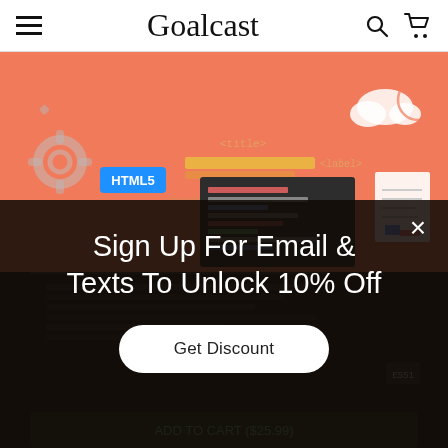Goalcast
[Figure (screenshot): Goalcast website screenshot showing a web development illustration with salmon/coral background, HTML5 code editor elements, cloud graphic, and a dark modal overlay popup with text 'Sign Up For Email & Texts To Unlock 10% Off' and a 'Get Discount' button]
Sign Up For Email & Texts To Unlock 10% Off
Get Discount